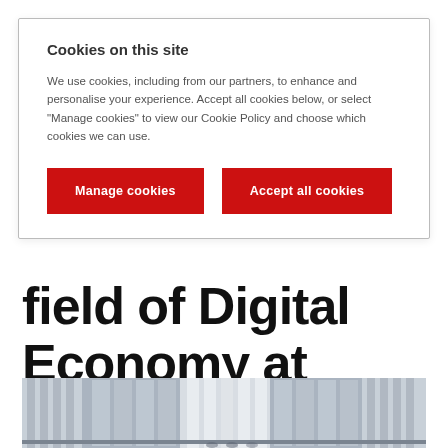field of Digital Economy at DDH
Cookies on this site
We use cookies, including from our partners, to enhance and personalise your experience. Accept all cookies below, or select "Manage cookies" to view our Cookie Policy and choose which cookies we can use.
Manage cookies
Accept all cookies
[Figure (photo): Interior of a modern glass-and-steel building atrium with tall columns and architectural lighting]